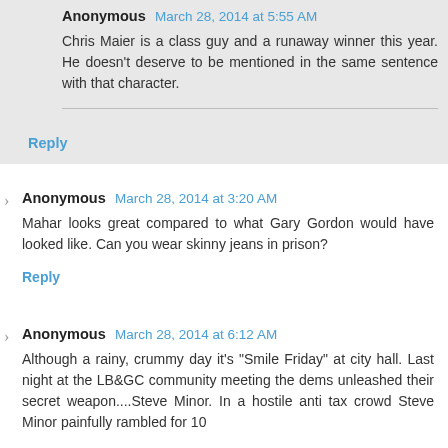Anonymous March 28, 2014 at 5:55 AM — Chris Maier is a class guy and a runaway winner this year. He doesn't deserve to be mentioned in the same sentence with that character.
Reply
Anonymous March 28, 2014 at 3:20 AM — Mahar looks great compared to what Gary Gordon would have looked like. Can you wear skinny jeans in prison?
Reply
Anonymous March 28, 2014 at 6:12 AM — Although a rainy, crummy day it's "Smile Friday" at city hall. Last night at the LB&GC community meeting the dems unleashed their secret weapon....Steve Minor. In a hostile anti tax crowd Steve Minor painfully rambled for 10